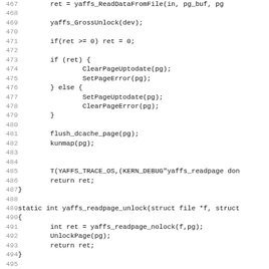Source code listing lines 467-499, showing yaffs filesystem functions including yaffs_readpage_nolock, yaffs_readpage_unlock, and yaffs_readpage